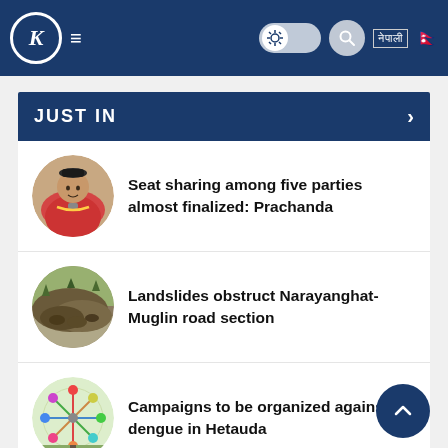Kantipur - K Logo | Navigation | Toggle | Search | नेपाली | Flag
JUST IN
Seat sharing among five parties almost finalized: Prachanda
Landslides obstruct Narayanghat-Muglin road section
Campaigns to be organized against dengue in Hetauda